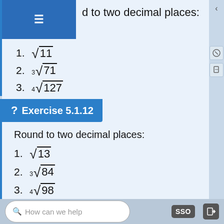d to two decimal places:
1. √11
2. ³√71
3. ⁴√127
Answer
? Exercise 5.1.12
Round to two decimal places:
1. √13
2. ³√84
3. ⁴√98
Answer